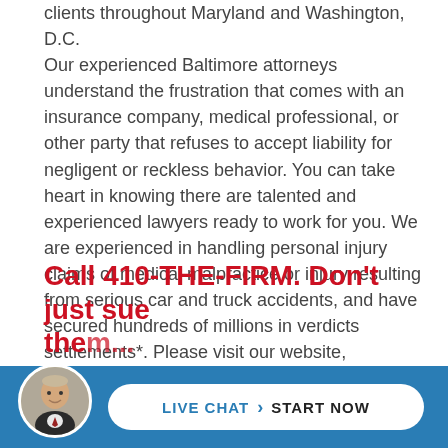clients throughout Maryland and Washington, D.C. Our experienced Baltimore attorneys understand the frustration that comes with an insurance company, medical professional, or other party that refuses to accept liability for negligent or reckless behavior. You can take heart in knowing there are talented and experienced lawyers ready to work for you. We are experienced in handling personal injury claims of medical malpractice or injury resulting from serious car and truck accidents, and have secured hundreds of millions in verdicts settlements*. Please visit our website, www.410thefirm.com, for more information and follow us on Facebook, Twitter, Google +, and LinkedIn.
Call 410-THE-FIRM. Don't just sue them...
[Figure (photo): Circular avatar photo of an attorney in a suit]
LIVE CHAT > START NOW